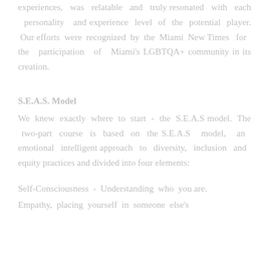experiences, was relatable and truly resonated with each personality and experience level of the potential player. Our efforts were recognized by the Miami New Times for the participation of Miami's LGBTQA+ community in its creation.
S.E.A.S. Model
We knew exactly where to start - the S.E.A.S model. The two-part course is based on the S.E.A.S model, an emotional intelligent approach to diversity, inclusion and equity practices and divided into four elements:
Self-Consciousness - Understanding who you are.
Empathy, placing yourself in someone else's